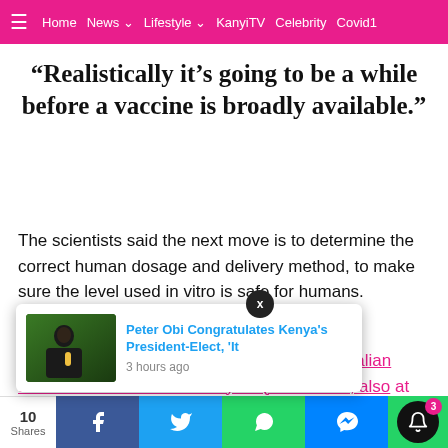≡  Home  News ▾  Lifestyle ▾  KanyiTV  Celebrity  Covid1
“Realistically it’s going to be a while before a vaccine is broadly available.”
The scientists said the next move is to determine the correct human dosage and delivery method, to make sure the level used in vitro is safe for humans.
KanyiDaily recalls last month that three Australian scientists from the University of Queensland, also [that could
[Figure (screenshot): Popup notification card showing 'Peter Obi Congratulates Kenya's President-Elect, It' with thumbnail image and '3 hours ago' timestamp, with an X close button]
10 Shares | Facebook | Twitter | WhatsApp | Messenger | Notification bell (3)